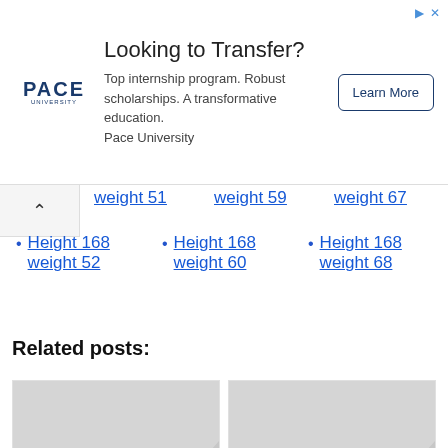[Figure (other): Pace University advertisement banner: Looking to Transfer? Top internship program. Robust scholarships. A transformative education. Pace University. Learn More button.]
weight 51
weight 59
weight 67
Height 168 weight 52
Height 168 weight 60
Height 168 weight 68
Related posts:
[Figure (photo): Placeholder image thumbnail for Height 180 cm and weight post]
Height 180 cm and weight 65 – is this normal? What...
[Figure (photo): Placeholder image thumbnail for Height 200 cm and weight post]
Height 200 cm and weight 100 – is this normal?...